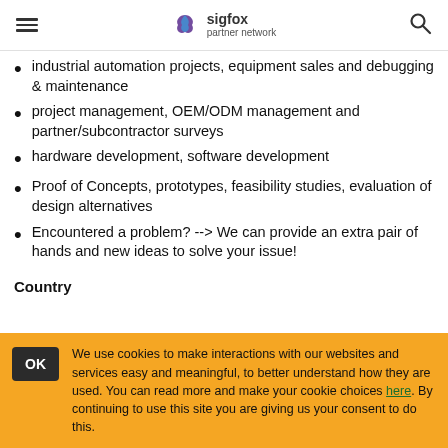sigfox partner network
industrial automation projects, equipment sales and debugging & maintenance
project management, OEM/ODM management and partner/subcontractor surveys
hardware development, software development
Proof of Concepts, prototypes, feasibility studies, evaluation of design alternatives
Encountered a problem? --> We can provide an extra pair of hands and new ideas to solve your issue!
Country
We use cookies to make interactions with our websites and services easy and meaningful, to better understand how they are used. You can read more and make your cookie choices here. By continuing to use this site you are giving us your consent to do this.